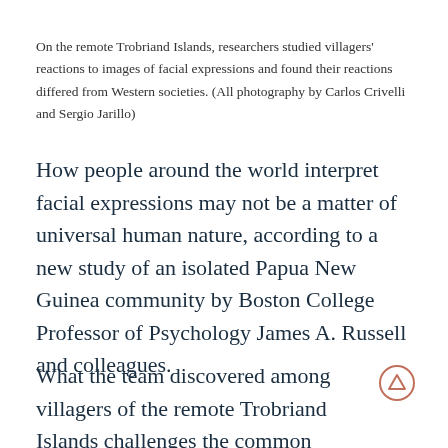On the remote Trobriand Islands, researchers studied villagers' reactions to images of facial expressions and found their reactions differed from Western societies. (All photography by Carlos Crivelli and Sergio Jarillo)
How people around the world interpret facial expressions may not be a matter of universal human nature, according to a new study of an isolated Papua New Guinea community by Boston College Professor of Psychology James A. Russell and colleagues.
What the team discovered among villagers of the remote Trobriand Islands challenges the common perception that facial expressions communicate